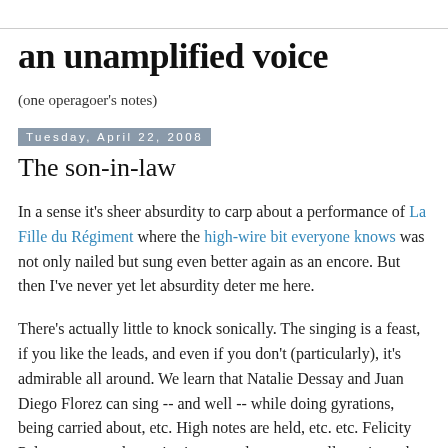an unamplified voice
(one operagoer's notes)
Tuesday, April 22, 2008
The son-in-law
In a sense it's sheer absurdity to carp about a performance of La Fille du Régiment where the high-wire bit everyone knows was not only nailed but sung even better again as an encore. But then I've never yet let absurdity deter me here.
There's actually little to knock sonically. The singing is a feast, if you like the leads, and even if you don't (particularly), it's admirable all around. We learn that Natalie Dessay and Juan Diego Florez can sing -- and well -- while doing gyrations, being carried about, etc. High notes are held, etc. etc. Felicity Palmer, a great dramatic singer not long ago, well continues her comic turn (she was also Mrs. Sedley in